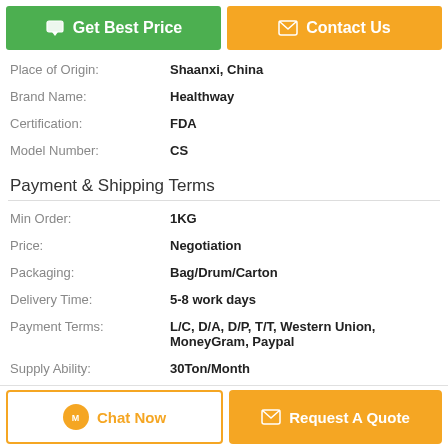[Figure (other): Two buttons: green 'Get Best Price' and orange 'Contact Us']
| Place of Origin: | Shaanxi, China |
| Brand Name: | Healthway |
| Certification: | FDA |
| Model Number: | CS |
Payment & Shipping Terms
| Min Order: | 1KG |
| Price: | Negotiation |
| Packaging: | Bag/Drum/Carton |
| Delivery Time: | 5-8 work days |
| Payment Terms: | L/C, D/A, D/P, T/T, Western Union, MoneyGram, Paypal |
| Supply Ability: | 30Ton/Month |
Description
[Figure (other): Bottom bar with 'Chat Now' and 'Request A Quote' buttons]